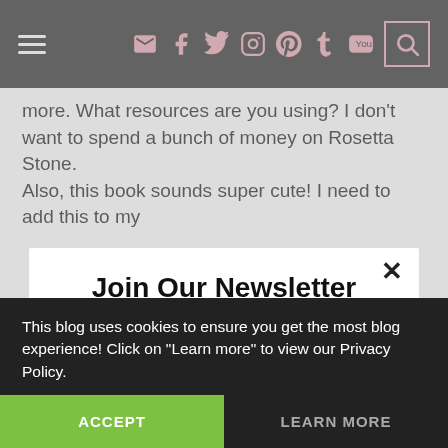Navigation bar with hamburger menu and social icons (email, facebook, twitter, instagram, pinterest, tumblr, youtube, search)
more. What resources are you using? I don't want to spend a bunch of money on Rosetta Stone.
Also, this book sounds super cute! I need to add this to my
Join Our Newsletter
Subscribe now to get notifications sent straight to your email so you never miss a post!
Enter name
Enter your email
This blog uses cookies to ensure you get the most blog experience! Click on "Learn more" to view our Privacy Policy.
ACCEPT
LEARN MORE